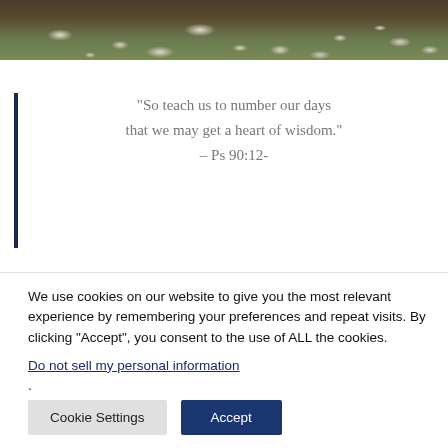[Figure (photo): Aerial or ground-level photo of grass/ground with scattered white petals or flower blossoms on dark soil]
“So teach us to number our days that we may get a heart of wisdom.” – Ps 90:12-
We use cookies on our website to give you the most relevant experience by remembering your preferences and repeat visits. By clicking “Accept”, you consent to the use of ALL the cookies. Do not sell my personal information.